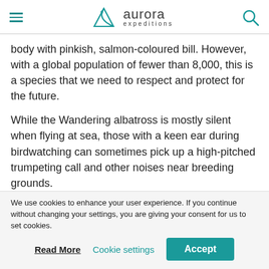aurora expeditions
body with pinkish, salmon-coloured bill. However, with a global population of fewer than 8,000, this is a species that we need to respect and protect for the future.
While the Wandering albatross is mostly silent when flying at sea, those with a keen ear during birdwatching can sometimes pick up a high-pitched trumpeting call and other noises near breeding grounds.
Antarctic Tern
With its striking black cap, white body and bright red
We use cookies to enhance your user experience. If you continue without changing your settings, you are giving your consent for us to set cookies.